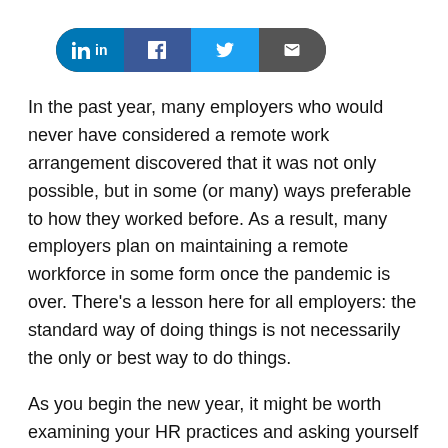[Figure (other): Social sharing button bar with LinkedIn, Facebook, Twitter, and Email icons]
In the past year, many employers who would never have considered a remote work arrangement discovered that it was not only possible, but in some (or many) ways preferable to how they worked before. As a result, many employers plan on maintaining a remote workforce in some form once the pandemic is over. There's a lesson here for all employers: the standard way of doing things is not necessarily the only or best way to do things.
As you begin the new year, it might be worth examining your HR practices and asking yourself